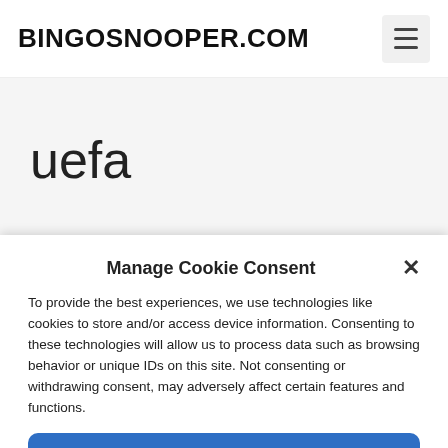BINGOSNOOPER.COM
uefa
Manage Cookie Consent
To provide the best experiences, we use technologies like cookies to store and/or access device information. Consenting to these technologies will allow us to process data such as browsing behavior or unique IDs on this site. Not consenting or withdrawing consent, may adversely affect certain features and functions.
Accept
Cookie Policy